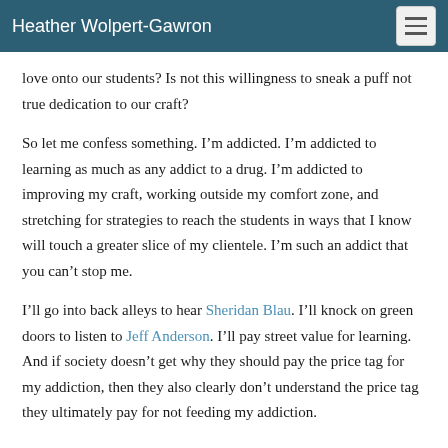Heather Wolpert-Gawron
love onto our students? Is not this willingness to sneak a puff not true dedication to our craft?
So let me confess something. I’m addicted. I’m addicted to learning as much as any addict to a drug. I’m addicted to improving my craft, working outside my comfort zone, and stretching for strategies to reach the students in ways that I know will touch a greater slice of my clientele. I’m such an addict that you can’t stop me.
I’ll go into back alleys to hear Sheridan Blau. I’ll knock on green doors to listen to Jeff Anderson. I’ll pay street value for learning. And if society doesn’t get why they should pay the price tag for my addiction, then they also clearly don’t understand the price tag they ultimately pay for not feeding my addiction.